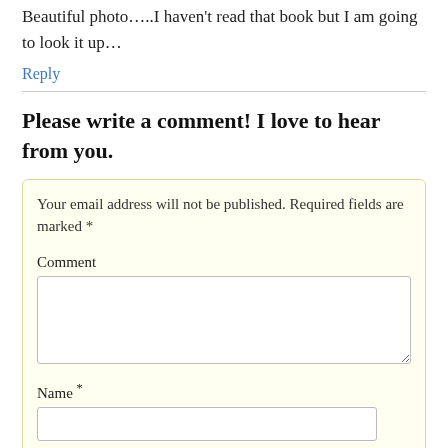Beautiful photo…..I haven't read that book but I am going to look it up…
Reply
Please write a comment! I love to hear from you.
Your email address will not be published. Required fields are marked *
Comment
Name *
Email *